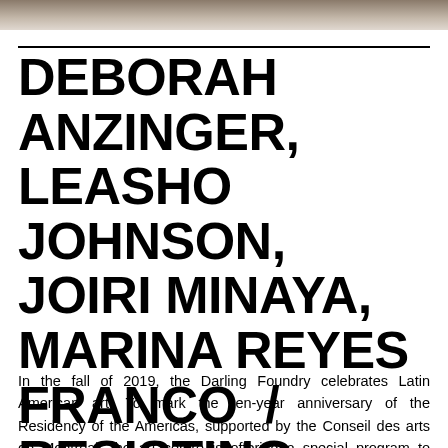[Figure (photo): Partial photo strip at top of page, showing a blurred brownish/warm-toned image]
DEBORAH ANZINGER, LEASHO JOHNSON, JOIRI MINAYA, MARINA REYES FRANCO / RESISTING PARADISE
In the fall of 2019, the Darling Foundry celebrates Latin American art. To mark the ten-year anniversary of the Residency of the Americas, supported by the Conseil des arts de Montréal, the art centre is offering a special program to Montreal and Canadian audiences that showcases the work of two former residents. In the Small Gallery, Puerto Rican curator Marina Reyes